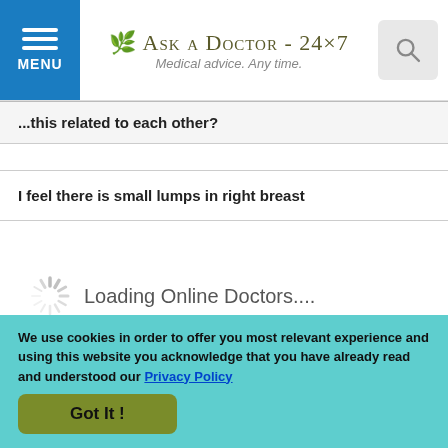Ask a Doctor - 24x7 | Medical advice. Any time.
...this related to each other?
I feel there is small lumps in right breast
Loading Online Doctors....
[Figure (logo): Ebix | A.D.A.M. Suite of Healthcare Products logo on dark background]
Download Here Free HealthCareMagic App to Ask a Doctor
We use cookies in order to offer you most relevant experience and using this website you acknowledge that you have already read and understood our Privacy Policy
Got It !